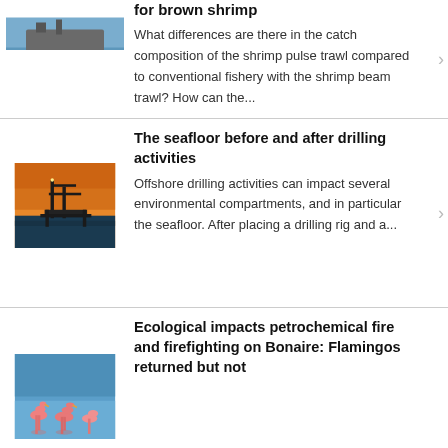[Figure (photo): Fishing boat on water, partially cropped at top]
for brown shrimp
What differences are there in the catch composition of the shrimp pulse trawl compared to conventional fishery with the shrimp beam trawl? How can the...
[Figure (photo): Offshore oil drilling platform at sunset with orange sky over water]
The seafloor before and after drilling activities
Offshore drilling activities can impact several environmental compartments, and in particular the seafloor. After placing a drilling rig and a...
[Figure (photo): Flamingos wading in blue water]
Ecological impacts petrochemical fire and firefighting on Bonaire: Flamingos returned but not